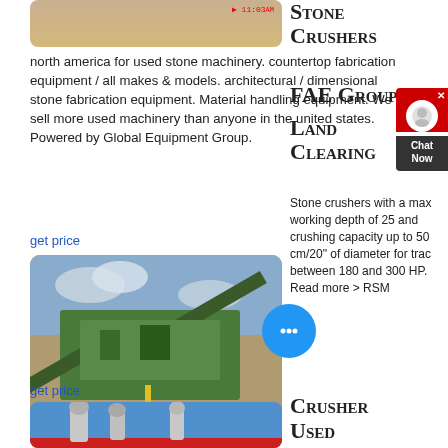[Figure (photo): Partially visible image showing sandy/dusty terrain with a red timestamp '11:03AM' in corner]
north america for used stone machinery. countertop fabrication equipment / all makes & models. architectural / dimensional stone fabrication equipment. Material handling equipment. We sell more used machinery than anyone in the united states. Powered by Global Equipment Group.
Stone Crushers
FAE Group
Land Clearing
get price
[Figure (photo): Large green mobile stone crushing machine with conveyor belts in an outdoor quarry setting]
Stone crushers with a max working depth of 25 and crushing capacity up to 50 cm/20" of diameter for trac between 180 and 300 HP. Read more > RSM
get price
[Figure (photo): Industrial equipment with cylindrical tanks against a blue sky background]
Crusher Used Crushers For